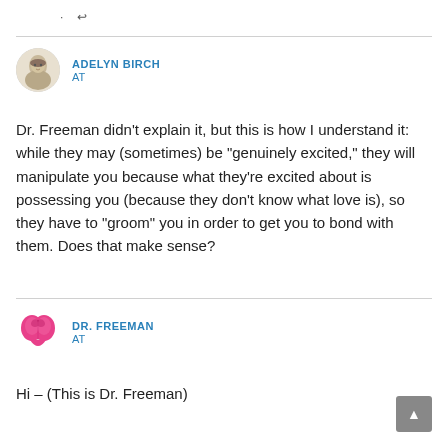. ↩
ADELYN BIRCH
AT
Dr. Freeman didn't explain it, but this is how I understand it: while they may (sometimes) be "genuinely excited," they will manipulate you because what they're excited about is possessing you (because they don't know what love is), so they have to "groom" you in order to get you to bond with them. Does that make sense?
DR. FREEMAN
AT
Hi – (This is Dr. Freeman)